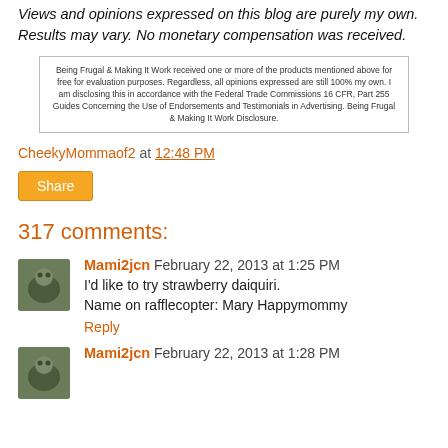Views and opinions expressed on this blog are purely my own. Results may vary. No monetary compensation was received.
[Figure (other): Disclosure box with small text: Being Frugal & Making It Work received one or more of the products mentioned above for free for evaluation purposes. Regardless, all opinions expressed are still 100% my own. I am disclosing this in accordance with the Federal Trade Commissions 16 CFR, Part 255 Guides Concerning the Use of Endorsements and Testimonials in Advertising. Being Frugal & Making It Work Disclosure.]
CheekyMommaof2 at 12:48 PM
Share
317 comments:
Mami2jcn February 22, 2013 at 1:25 PM
I'd like to try strawberry daiquiri.
Name on rafflecopter: Mary Happymommy
Reply
Mami2jcn February 22, 2013 at 1:28 PM